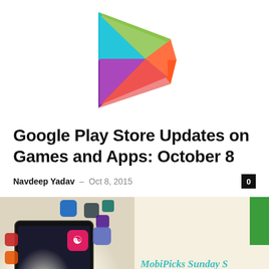[Figure (logo): Google Play Store logo — colorful play button triangle with teal, green, red/orange, and purple segments]
Google Play Store Updates on Games and Apps: October 8
Navdeep Yadav – Oct 8, 2015
[Figure (photo): Left half: tablet with floating colorful app icons on dark screen with glowing light effect. Right half: MobiPicks Sunday Special Summoners War text on cream background with green bar in top right corner.]